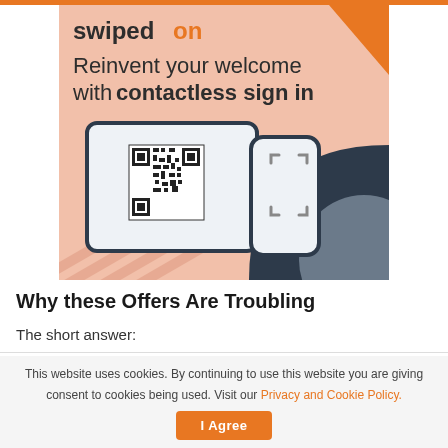[Figure (illustration): SwipedOn advertisement banner showing a tablet with QR code and a phone doing contactless sign-in, with text 'Reinvent your welcome with contactless sign in'. Pink/salmon background with dark navy geometric shapes and orange accent corner.]
Why these Offers Are Troubling
The short answer:
This website uses cookies. By continuing to use this website you are giving consent to cookies being used. Visit our Privacy and Cookie Policy.  I Agree